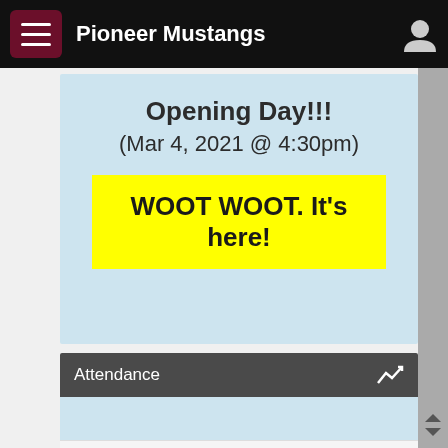Pioneer Mustangs
Opening Day!!!
(Mar 4, 2021 @ 4:30pm)
WOOT WOOT. It's here!
Attendance
icebergarmynavy.com Airsoft Full Face Helmets OPEN